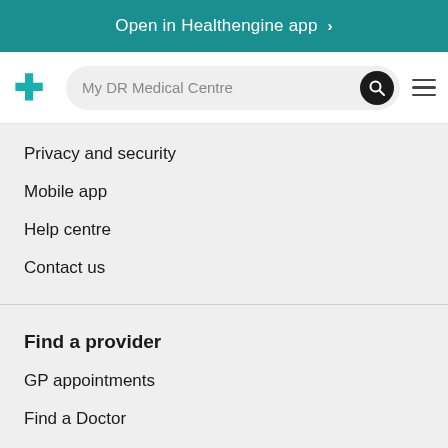Open in Healthengine app >
My DR Medical Centre
Privacy and security
Mobile app
Help centre
Contact us
Find a provider
GP appointments
Find a Doctor